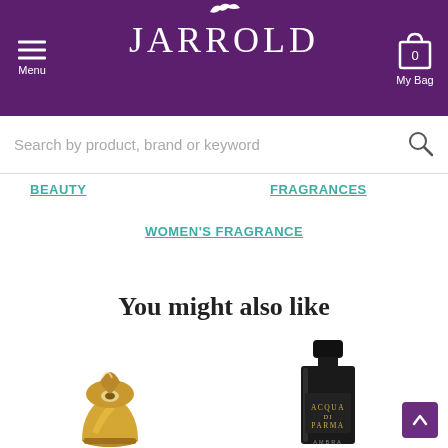JARROLD - Menu | My Bag
Search by product, brand or keyword
BEAUTY
FRAGRANCES
WOMEN'S FRAGRANCE
You might also like
[Figure (photo): Gold Mugler Alien perfume bottle (ornate golden alien-shaped bottle)]
[Figure (photo): Acqua di Parma Ambra black bottle fragrance]